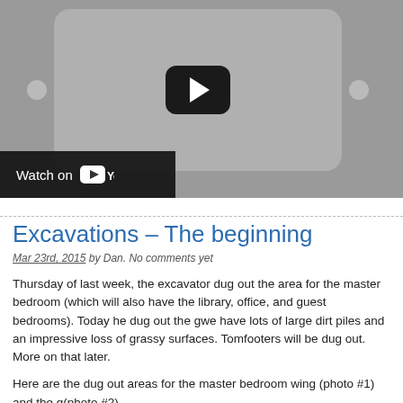[Figure (screenshot): YouTube video thumbnail showing a play button with 'Watch on YouTube' bar at the bottom left]
Excavations – The beginning
Mar 23rd, 2015 by Dan. No comments yet
Thursday of last week, the excavator dug out the area for the master bedroom (which will also have the library, office, and guest bedrooms). Today he dug out the garage, so we have lots of large dirt piles and an impressive loss of grassy surfaces. Tomorrow the footers will be dug out. More on that later.
Here are the dug out areas for the master bedroom wing (photo #1) and the garage (photo #2).